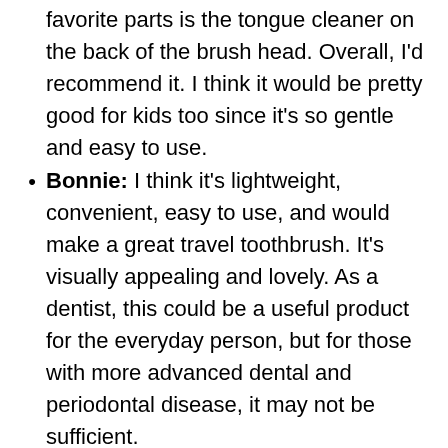favorite parts is the tongue cleaner on the back of the brush head. Overall, I'd recommend it. I think it would be pretty good for kids too since it's so gentle and easy to use.
Bonnie: I think it's lightweight, convenient, easy to use, and would make a great travel toothbrush. It's visually appealing and lovely. As a dentist, this could be a useful product for the everyday person, but for those with more advanced dental and periodontal disease, it may not be sufficient.
Annie: Overall I really like the quip brush! The timer made me realize how long 2 minutes is – I definitely didn't brush my teeth for long enough before. I used a manual toothbrush before, so the electric brush is much easier to use and leaves my teeth feeling cleaner. I like how it's